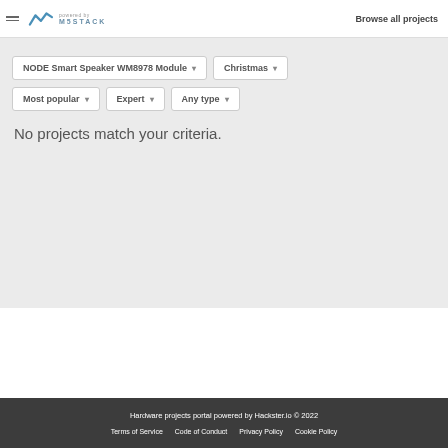Browse all projects
NODE Smart Speaker WM8978 Module ▾   Christmas ▾   Most popular ▾   Expert ▾   Any type ▾
No projects match your criteria.
Hardware projects portal powered by Hackster.io © 2022   Terms of Service   Code of Conduct   Privacy Policy   Cookie Policy